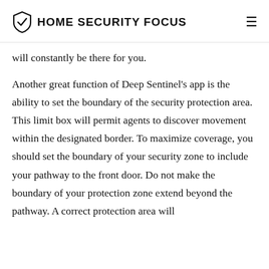HOME SECURITY FOCUS
will constantly be there for you.
Another great function of Deep Sentinel’s app is the ability to set the boundary of the security protection area. This limit box will permit agents to discover movement within the designated border. To maximize coverage, you should set the boundary of your security zone to include your pathway to the front door. Do not make the boundary of your protection zone extend beyond the pathway. A correct protection area will